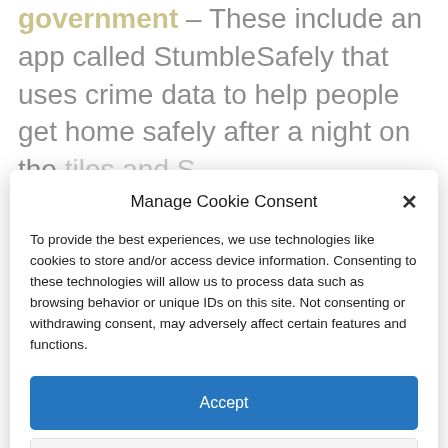government – These include an app called StumbleSafely that uses crime data to help people get home safely after a night on the tiles and StumbleSafely...
Manage Cookie Consent
To provide the best experiences, we use technologies like cookies to store and/or access device information. Consenting to these technologies will allow us to process data such as browsing behavior or unique IDs on this site. Not consenting or withdrawing consent, may adversely affect certain features and functions.
Accept
Deny
View preferences
Cookie Policy | Privacy Policy